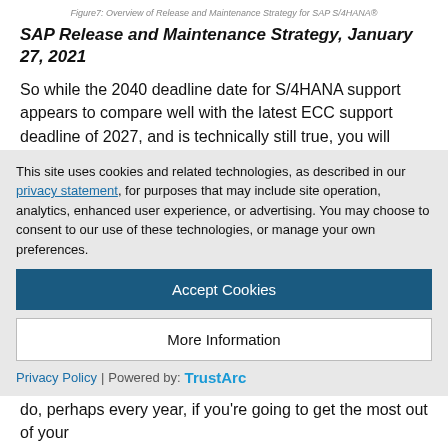Figure7: Overview of Release and Maintenance Strategy for SAP S/4HANA®
SAP Release and Maintenance Strategy, January 27, 2021
So while the 2040 deadline date for S/4HANA support appears to compare well with the latest ECC support deadline of 2027, and is technically still true, you will likely have to be running S/4HANA version 2036 in order to reach 2040 in maintenance.
The minimum number of upgrades that you will have had to perform (starting on 1511) to stay in mainstream maintenance
This site uses cookies and related technologies, as described in our privacy statement, for purposes that may include site operation, analytics, enhanced user experience, or advertising. You may choose to consent to our use of these technologies, or manage your own preferences.
Accept Cookies
More Information
Privacy Policy | Powered by: TrustArc
do, perhaps every year, if you're going to get the most out of your